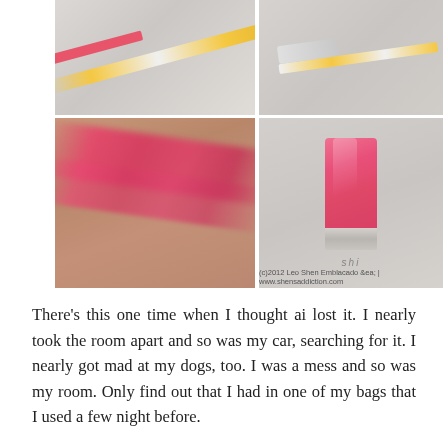[Figure (photo): Four-panel photo grid showing pink lipstick/lip liner product. Top-left: close-up of a lip liner pencil with gold barrel. Top-right: tip of lipstick/liner on grey background. Bottom-left: pink lip color swatch on skin. Bottom-right: pink lipstick bullet on grey background with copyright watermark.]
There's this one time when I thought ai lost it. I nearly took the room apart and so was my car, searching for it. I nearly got mad at my dogs, too. I was a mess and so was my room. Only find out that I had in one of my bags that I used a few night before.